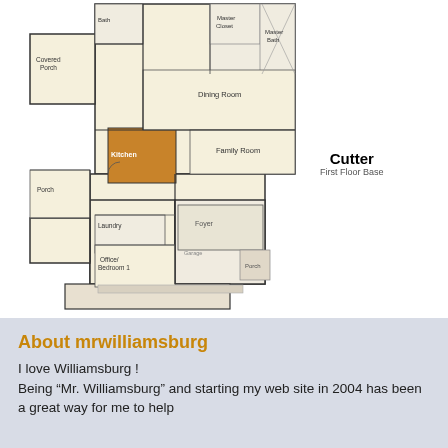[Figure (schematic): Floor plan diagram of the 'Cutter' First Floor Base layout, showing rooms including Covered Porch, Kitchen, Family Room, Dining Room, Master Closet, Master Bath, Bath, Laundry, Office/Bedroom 1, Porch, Foyer, and Garage areas.]
Cutter
First Floor Base
About mrwilliamsburg
I love Williamsburg !
Being “Mr. Williamsburg” and starting my web site in 2004 has been a great way for me to help